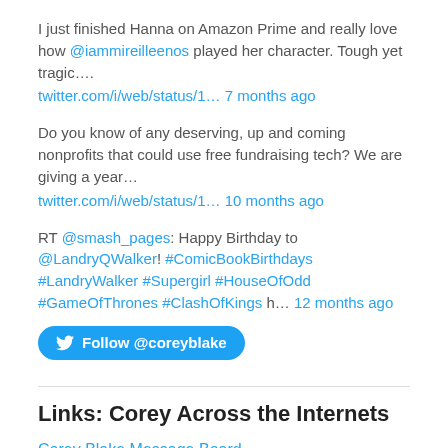I just finished Hanna on Amazon Prime and really love how @iammireilleenos played her character. Tough yet tragic….
twitter.com/i/web/status/1… 7 months ago
Do you know of any deserving, up and coming nonprofits that could use free fundraising tech?  We are giving a year…
twitter.com/i/web/status/1… 10 months ago
RT @smash_pages: Happy Birthday to @LandryQWalker! #ComicBookBirthdays #LandryWalker #Supergirl #HouseOfOdd #GameOfThrones #ClashOfKings h… 12 months ago
[Figure (other): Follow @coreyblake button on Twitter]
Links: Corey Across the Internets
Corey Blake Message Board
Corey Blake YouTube Channel
Corey's Facebook